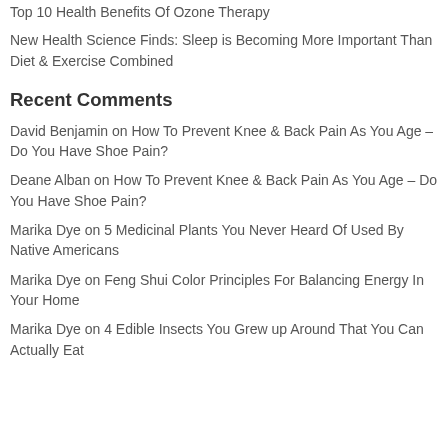Top 10 Health Benefits Of Ozone Therapy
New Health Science Finds: Sleep is Becoming More Important Than Diet & Exercise Combined
Recent Comments
David Benjamin on How To Prevent Knee & Back Pain As You Age – Do You Have Shoe Pain?
Deane Alban on How To Prevent Knee & Back Pain As You Age – Do You Have Shoe Pain?
Marika Dye on 5 Medicinal Plants You Never Heard Of Used By Native Americans
Marika Dye on Feng Shui Color Principles For Balancing Energy In Your Home
Marika Dye on 4 Edible Insects You Grew up Around That You Can Actually Eat